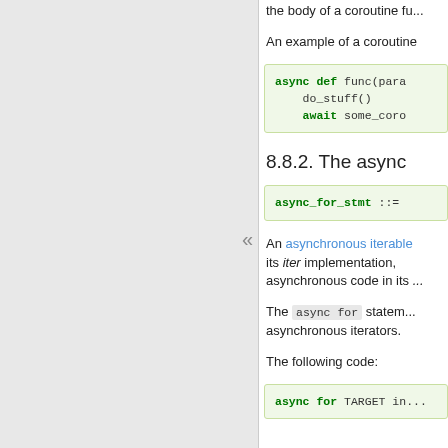the body of a coroutine fu...
An example of a coroutine
[Figure (screenshot): Code block: async def func(para...) with do_stuff() and await some_coro...]
8.8.2. The async
[Figure (screenshot): Code block: async_for_stmt ::=]
An asynchronous iterable is able to call asynchronous code in its iter implementation, asynchronous code in its ...
The async for statement makes asynchronous iterators.
The following code:
[Figure (screenshot): Code block: async for TARGET in...]